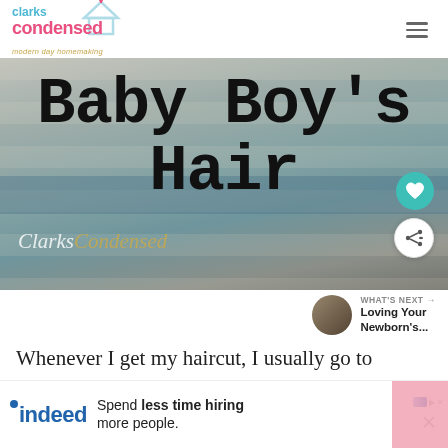clarks condensed — modern day homemaking
[Figure (photo): Hero image with wooden background and large typewriter-style text reading 'Baby Boy's Hair', with ClarksCondensed watermark, heart and share buttons]
WHAT'S NEXT → Loving Your Newborn's...
Whenever I get my haircut, I usually go to a
[Figure (other): Indeed advertisement banner: 'Spend less time hiring more people.']